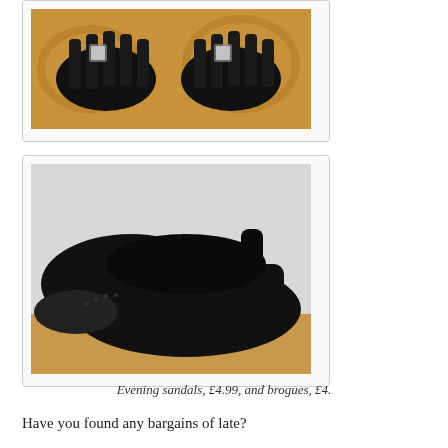[Figure (photo): Black strappy evening sandals with rhinestone embellishments on a patterned background, viewed from above showing both shoes]
[Figure (photo): Black brogue-style heeled shoes with lace-up front, photographed from the side on a light surface]
Evening sandals, £4.99, and brogues, £4.
Have you found any bargains of late?